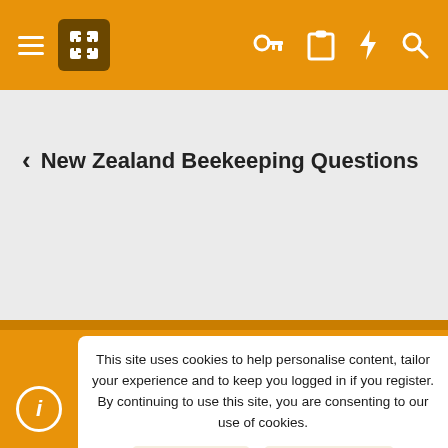NZ Bees Light – site navigation header
< New Zealand Beekeeping Questions
NZ Bees Light  Terms and rules  Privacy policy  Help  Home
Community platform by XenForo® © 2010-2022 XenForo Ltd. | Style by ThemeHouse
This site uses cookies to help personalise content, tailor your experience and to keep you logged in if you register. By continuing to use this site, you are consenting to our use of cookies.